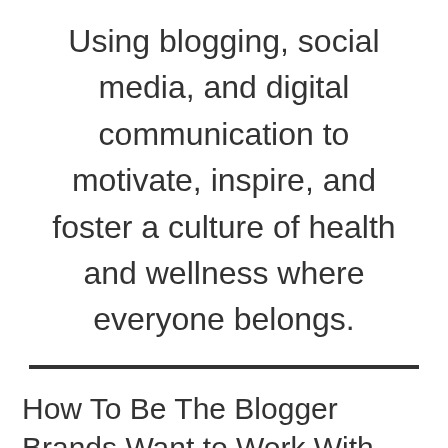Using blogging, social media, and digital communication to motivate, inspire, and foster a culture of health and wellness where everyone belongs.
How To Be The Blogger Brands Want to Work With